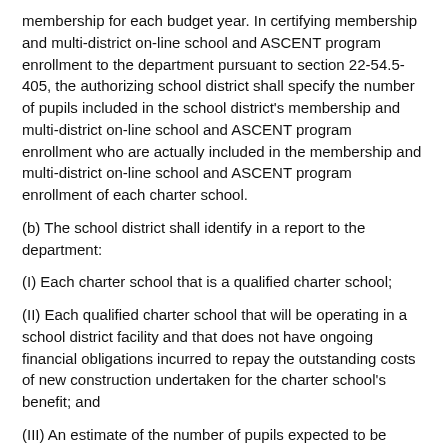membership for each budget year. In certifying membership and multi-district on-line school and ASCENT program enrollment to the department pursuant to section 22-54.5-405, the authorizing school district shall specify the number of pupils included in the school district's membership and multi-district on-line school and ASCENT program enrollment who are actually included in the membership and multi-district on-line school and ASCENT program enrollment of each charter school.
(b) The school district shall identify in a report to the department:
(I) Each charter school that is a qualified charter school;
(II) Each qualified charter school that will be operating in a school district facility and that does not have ongoing financial obligations incurred to repay the outstanding costs of new construction undertaken for the charter school's benefit; and
(III) An estimate of the number of pupils expected to be included in the average daily membership for each qualified charter school for the funding average period for the budget year following the budget year in which the district submits the report.
(3) (a) As part of the charter school contract, each charter school and the authorizing school district shall agree on funding and any services that the school district provides to the charter school. Except as